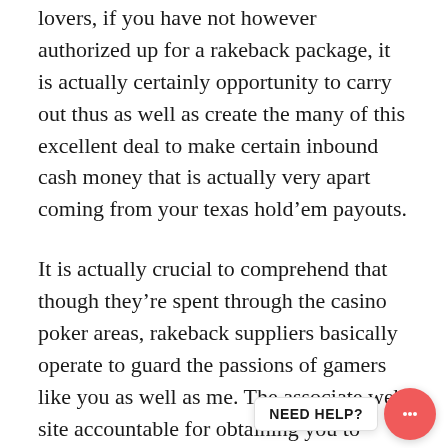lovers, if you have not however authorized up for a rakeback package, it is actually certainly opportunity to carry out thus as well as create the many of this excellent deal to make certain inbound cash money that is actually very apart coming from your texas hold’em payouts.
It is actually crucial to comprehend that though they’re spent through the casino poker areas, rakeback suppliers basically operate to guard the passions of gamers like you as well as me. The associate web site accountable for obtaining you to authorize up along with that particular casino poker area obtains a compensation looked at r volume that you produce.